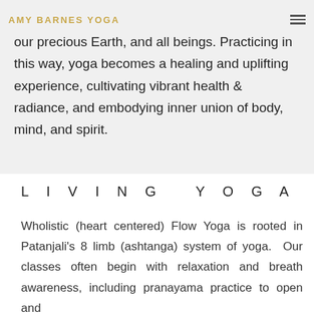AMY BARNES YOGA
our precious Earth, and all beings. Practicing in this way, yoga becomes a healing and uplifting experience, cultivating vibrant health & radiance, and embodying inner union of body, mind, and spirit.
LIVING YOGA
Wholistic (heart centered) Flow Yoga is rooted in Patanjali’s 8 limb (ashtanga) system of yoga.  Our classes often begin with relaxation and breath awareness, including pranayama practice to open and